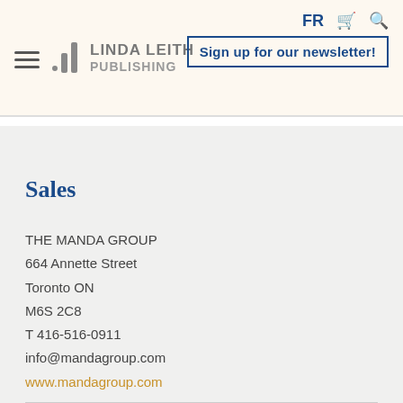Linda Leith Publishing — FR | cart | search | Sign up for our newsletter!
Sales
THE MANDA GROUP
664 Annette Street
Toronto ON
M6S 2C8
T 416-516-0911
info@mandagroup.com
www.mandagroup.com
Distribution